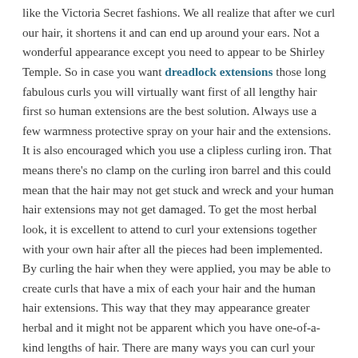like the Victoria Secret fashions. We all realize that after we curl our hair, it shortens it and can end up around your ears. Not a wonderful appearance except you need to appear to be Shirley Temple. So in case you want dreadlock extensions those long fabulous curls you will virtually want first of all lengthy hair first so human extensions are the best solution. Always use a few warmness protective spray on your hair and the extensions. It is also encouraged which you use a clipless curling iron. That means there's no clamp on the curling iron barrel and this could mean that the hair may not get stuck and wreck and your human hair extensions may not get damaged. To get the most herbal look, it is excellent to attend to curl your extensions together with your own hair after all the pieces had been implemented. By curling the hair when they were applied, you may be able to create curls that have a mix of each your hair and the human hair extensions. This way that they may appearance greater herbal and it might not be apparent which you have one-of-a-kind lengths of hair. There are many ways you can curl your hair along with ribbon fashion curls, wavy hair and everyday curls. You also can curl your human hair extensions in